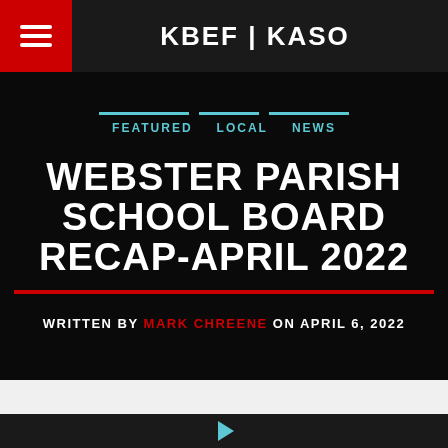KBEF | KASO
FEATURED  LOCAL  NEWS
WEBSTER PARISH SCHOOL BOARD RECAP-APRIL 2022
WRITTEN BY MARK CHREENE ON APRIL 6, 2022
[Figure (other): Media player bar with grey progress area and red segment on dark background]